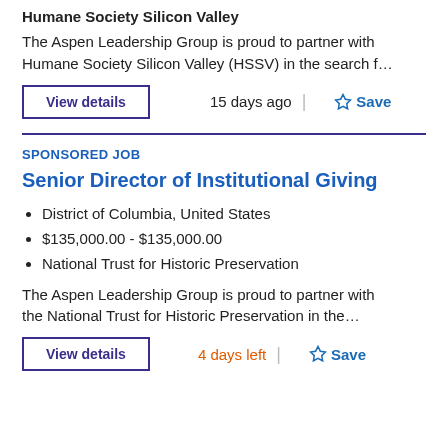Humane Society Silicon Valley
The Aspen Leadership Group is proud to partner with Humane Society Silicon Valley (HSSV) in the search f…
View details
15 days ago
Save
SPONSORED JOB
Senior Director of Institutional Giving
District of Columbia, United States
$135,000.00 - $135,000.00
National Trust for Historic Preservation
The Aspen Leadership Group is proud to partner with the National Trust for Historic Preservation in the…
View details
4 days left
Save